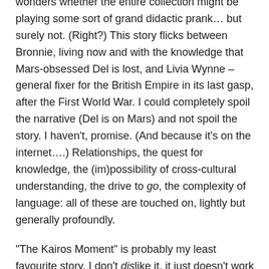wonders whether the entire collection might be playing some sort of grand didactic prank… but surely not. (Right?) This story flicks between Bronnie, living now and with the knowledge that Mars-obsessed Del is lost, and Livia Wynne – general fixer for the British Empire in its last gasp, after the First World War. I could completely spoil the narrative (Del is on Mars) and not spoil the story. I haven't, promise. (And because it's on the internet….) Relationships, the quest for knowledge, the (im)possibility of cross-cultural understanding, the drive to go, the complexity of language: all of these are touched on, lightly but generally profoundly.
“The Kairos Moment” is probably my least favourite story. I don’t dislike it, it just doesn’t work for me like the others. ‘Kairos’ is the Greek term (apparently… who me,